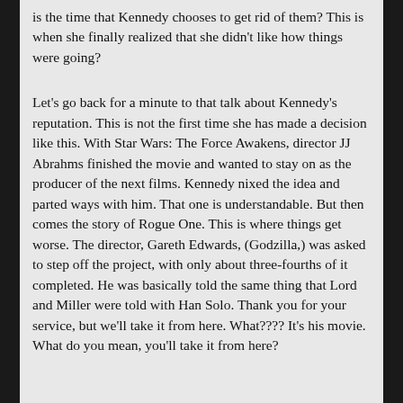is the time that Kennedy chooses to get rid of them? This is when she finally realized that she didn't like how things were going?
Let's go back for a minute to that talk about Kennedy's reputation. This is not the first time she has made a decision like this. With Star Wars: The Force Awakens, director JJ Abrahms finished the movie and wanted to stay on as the producer of the next films. Kennedy nixed the idea and parted ways with him. That one is understandable. But then comes the story of Rogue One. This is where things get worse. The director, Gareth Edwards, (Godzilla,) was asked to step off the project, with only about three-fourths of it completed. He was basically told the same thing that Lord and Miller were told with Han Solo. Thank you for your service, but we'll take it from here. What???? It's his movie. What do you mean, you'll take it from here?